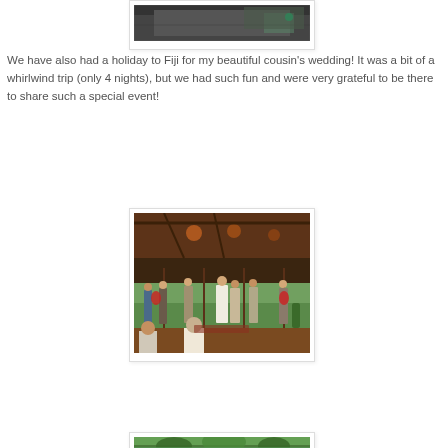[Figure (photo): Top portion of a photo (partially visible), appears to show an indoor scene with a patterned wall or screen]
We have also had a holiday to Fiji for my beautiful cousin's wedding!  It was a bit of a whirlwind trip (only 4 nights), but we had such fun and were very grateful to be there to share such a special event!
[Figure (photo): Indoor wedding ceremony photo taken in a wooden-beamed venue with large glass windows overlooking tropical greenery. Wedding party and guests visible, bride in white dress at center.]
[Figure (photo): Partially visible photo at the bottom, appears to show tropical palm trees and scenery]